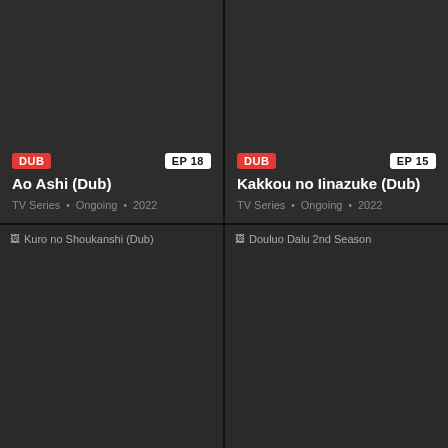[Figure (screenshot): Anime card for Ao Ashi (Dub) with DUB badge and EP 18 badge, TV Series, Ongoing, 2022]
[Figure (screenshot): Anime card for Kakkou no Iinazuke (Dub) with DUB badge and EP 15 badge, TV Series, Ongoing, 2022]
[Figure (screenshot): Anime card thumbnail for Kuro no Shoukanshi (Dub), partially visible at bottom]
[Figure (screenshot): Anime card thumbnail for Douluo Dalu 2nd Season, partially visible at bottom]